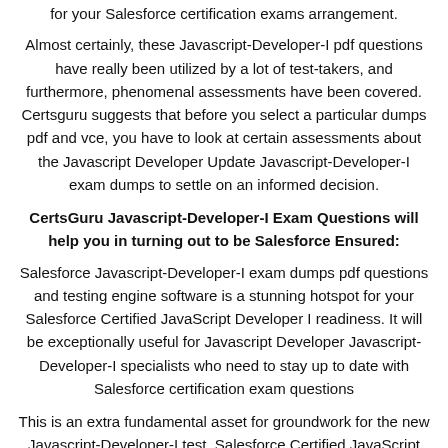for your Salesforce certification exams arrangement.
Almost certainly, these Javascript-Developer-I pdf questions have really been utilized by a lot of test-takers, and furthermore, phenomenal assessments have been covered. Certsguru suggests that before you select a particular dumps pdf and vce, you have to look at certain assessments about the Javascript Developer Update Javascript-Developer-I exam dumps to settle on an informed decision.
CertsGuru Javascript-Developer-I Exam Questions will help you in turning out to be Salesforce Ensured:
Salesforce Javascript-Developer-I exam dumps pdf questions and testing engine software is a stunning hotspot for your Salesforce Certified JavaScript Developer I readiness. It will be exceptionally useful for Javascript Developer Javascript-Developer-I specialists who need to stay up to date with Salesforce certification exam questions
This is an extra fundamental asset for groundwork for the new Javascript-Developer-I test. Salesforce Certified JavaScript Developer I dumps offered by CertsGuru has served an assortment